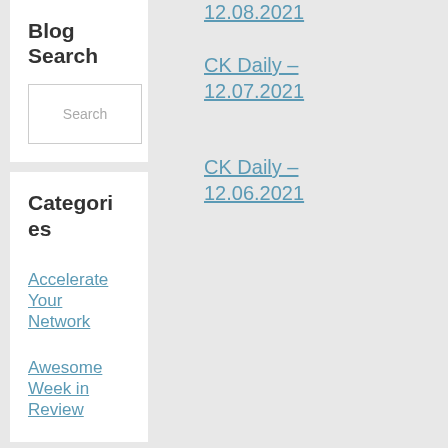12.08.2021
Blog Search
Search
CK Daily – 12.07.2021
Categories
CK Daily – 12.06.2021
Accelerate Your Network
Awesome Week in Review